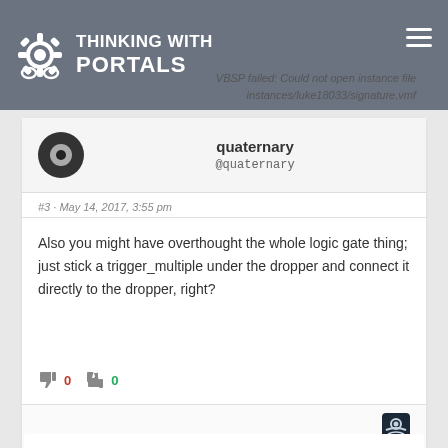THINKING WITH PORTALS
VBSP failed: Could not open instance file instances/luke18033/signature.vmf
quaternary @quaternary
#3 · May 14, 2017, 3:55 pm
Also you might have overthought the whole logic gate thing; just stick a trigger_multiple under the dropper and connect it directly to the dropper, right?
0  0